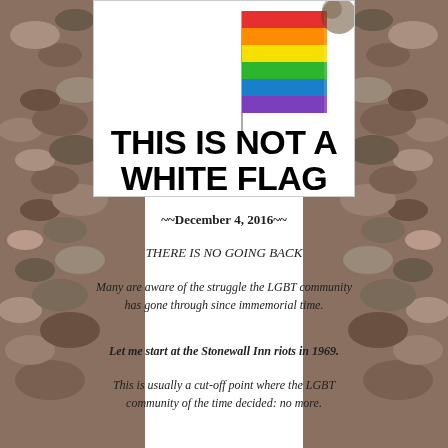[Figure (photo): Rainbow pride flag waving on a pole against a white background]
THIS IS NOT A WHITE FLAG
~~December 4, 2016~~
THERE IS NO GOING BACK
Many are aware of the struggle the LGBT community has gone through since immemorial time.
Let me start at the Stonewall Inn riots in 1969.
This is usually a cut-off point where the LGBT community of the time decided: no more.